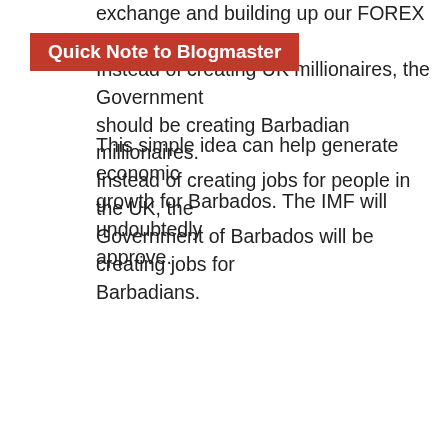exchange and building up our FOREX reserves. Instead of creating UK millionaires, the Government should be creating Barbadian millionaires. Instead of creating jobs for people in the UK, the Government of Barbados will be creating jobs for Barbadians.
Quick Note to Blogmaster
This simple idea can help generate economic growth for Barbados. The IMF will undoubtedly approve.
★ Liked by 1 person
Miller   November 11, 2019 11:22 AM
@ Walter Blackman November 11, 2019 10:29 AM
"You will note that White Oak is a COMPANY which was handpicked to